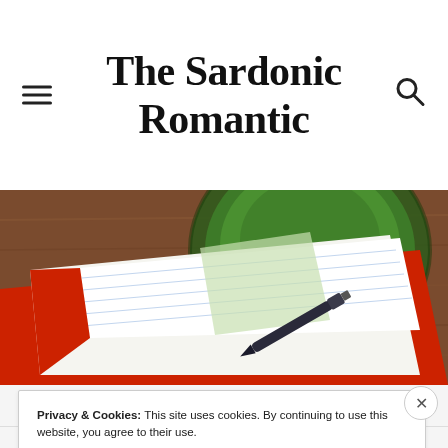The Sardonic Romantic
[Figure (photo): Overhead photo of an open ruled notebook with a red cover and a fountain pen resting on it, next to a green bowl on a wooden table.]
Privacy & Cookies: This site uses cookies. By continuing to use this website, you agree to their use.
To find out more, including how to control cookies, see here: Cookie Policy
Close and accept
Advertisements